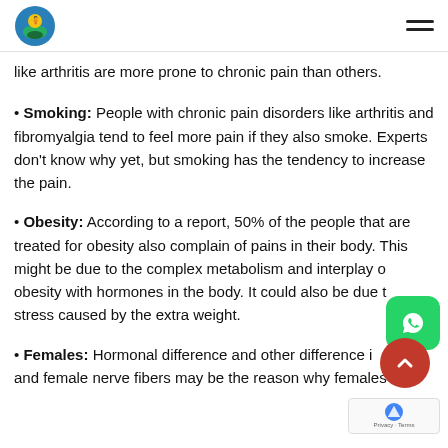[Logo] [Hamburger menu]
like arthritis are more prone to chronic pain than others.
• Smoking: People with chronic pain disorders like arthritis and fibromyalgia tend to feel more pain if they also smoke. Experts don't know why yet, but smoking has the tendency to increase the pain.
• Obesity: According to a report, 50% of the people that are treated for obesity also complain of pains in their body. This might be due to the complex metabolism and interplay of obesity with hormones in the body. It could also be due to stress caused by the extra weight.
• Females: Hormonal difference and other difference in male and female nerve fibers may be the reason why females